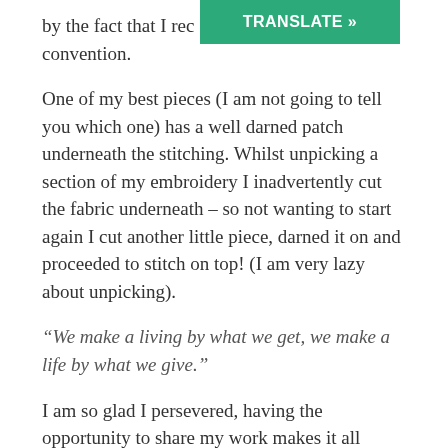by the fact that I rec[TRANSLATE »]at the convention.
One of my best pieces (I am not going to tell you which one) has a well darned patch underneath the stitching. Whilst unpicking a section of my embroidery I inadvertently cut the fabric underneath – so not wanting to start again I cut another little piece, darned it on and proceeded to stitch on top! (I am very lazy about unpicking).
“We make a living by what we get, we make a life by what we give.”
I am so glad I persevered, having the opportunity to share my work makes it all worthwhile. Thank you for your lovely encouraging emails and comments.  Have a perfect week wherever you are and remember  “If you can dream it you can do it”- Trish